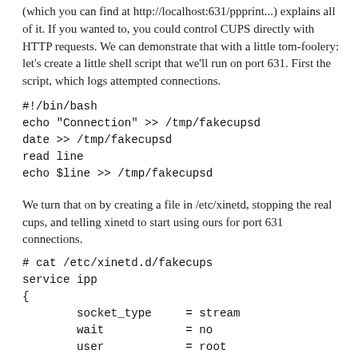(which you can find at http://localhost:631/ppprint...) explains all of it. If you wanted to, you could control CUPS directly with HTTP requests. We can demonstrate that with a little tom-foolery: let's create a little shell script that we'll run on port 631. First the script, which logs attempted connections.
We turn that on by creating a file in /etc/xinetd, stopping the real cups, and telling xinetd to start using ours for port 631 connections.